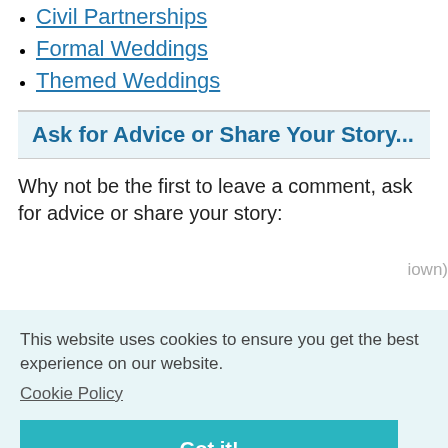Civil Partnerships
Formal Weddings
Themed Weddings
Ask for Advice or Share Your Story...
Why not be the first to leave a comment, ask for advice or share your story:
This website uses cookies to ensure you get the best experience on our website.
Cookie Policy
Got it!